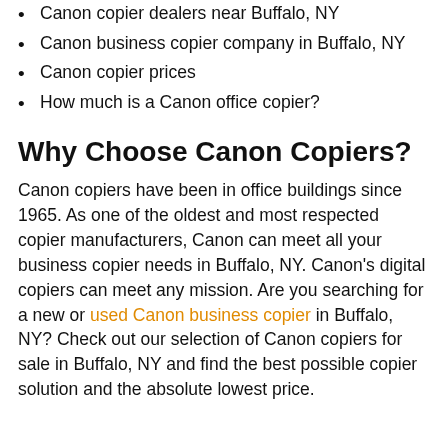Canon copier dealers near Buffalo, NY
Canon business copier company in Buffalo, NY
Canon copier prices
How much is a Canon office copier?
Why Choose Canon Copiers?
Canon copiers have been in office buildings since 1965. As one of the oldest and most respected copier manufacturers, Canon can meet all your business copier needs in Buffalo, NY. Canon’s digital copiers can meet any mission. Are you searching for a new or used Canon business copier in Buffalo, NY? Check out our selection of Canon copiers for sale in Buffalo, NY and find the best possible copier solution and the absolute lowest price.